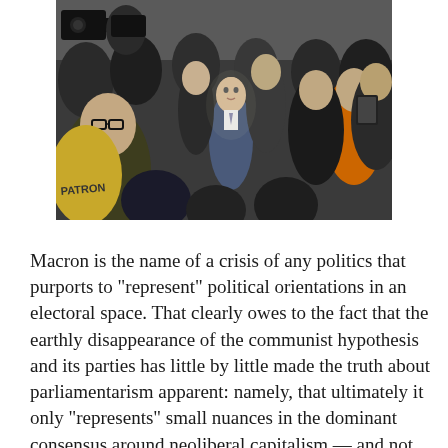[Figure (photo): A crowd of people surrounds a man in a suit (Emmanuel Macron) who appears to be speaking or gesturing. Several people hold cameras and phones. One person in the foreground wears a yellow vest with text 'PATRON' visible.]
Macron is the name of a crisis of any politics that purports to "represent" political orientations in an electoral space. That clearly owes to the fact that the earthly disappearance of the communist hypothesis and its parties has little by little made the truth about parliamentarism apparent: namely, that ultimately it only "represents" small nuances in the dominant consensus around neoliberal capitalism — and not any alternative strategy. The far Right, in the brutal style of Donald Trump or the renovated Pétainism of